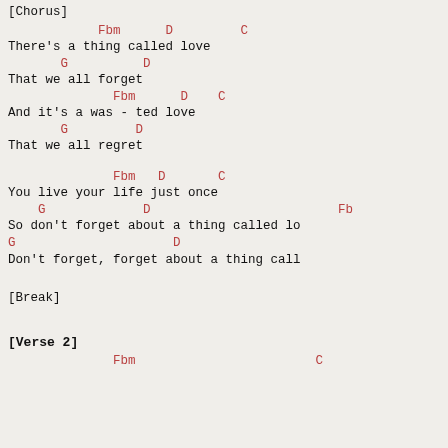[Chorus]
Fbm      D         C
There's a thing called love
       G          D
That we all forget
              Fbm      D    C
And it's a was - ted love
       G         D
That we all regret
Fbm   D       C
You live your life just once
    G             D                         Fb
So don't forget about a thing called lo
G                     D
Don't forget, forget about a thing call
[Break]
[Verse 2]
Fbm                        C